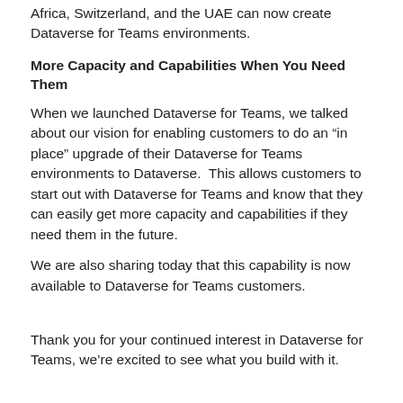Africa, Switzerland, and the UAE can now create Dataverse for Teams environments.
More Capacity and Capabilities When You Need Them
When we launched Dataverse for Teams, we talked about our vision for enabling customers to do an “in place” upgrade of their Dataverse for Teams environments to Dataverse.  This allows customers to start out with Dataverse for Teams and know that they can easily get more capacity and capabilities if they need them in the future.
We are also sharing today that this capability is now available to Dataverse for Teams customers.
Thank you for your continued interest in Dataverse for Teams, we’re excited to see what you build with it.
Hva er Power Apps?